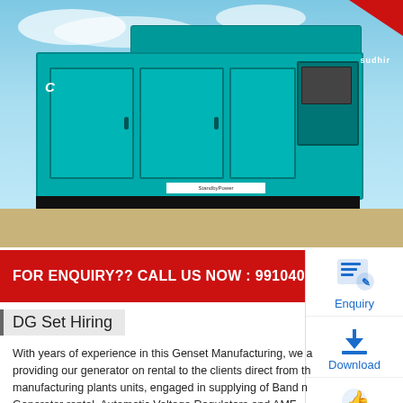[Figure (photo): Teal/green Cummins diesel generator set (DG Set) branded 'Sudhir', shown in silenced/canopy form, parked on a wooden floor with a blue sky background.]
FOR ENQUIRY?? CALL US NOW : 9910400507 / 70422
DG Set Hiring
With years of experience in this Genset Manufacturing, we are providing our generator on rental to the clients direct from the manufacturing plants units, engaged in supplying of Band new Generator rental, Automatic Voltage Regulators and AMF Panel Boards. In addition, we also offer prompt after sales services to our clients, and help them make the right choice in selecting the best generator company in india. We are a prominent organization engaged in offering DG sets that are widely used in houses, offices